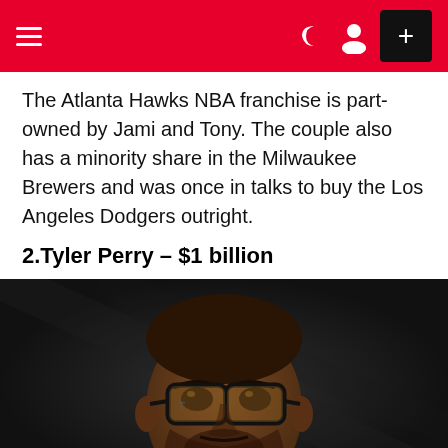≡  ) [user icon]  +
The Atlanta Hawks NBA franchise is part-owned by Jami and Tony. The couple also has a minority share in the Milwaukee Brewers and was once in talks to buy the Los Angeles Dodgers outright.
2.Tyler Perry – $1 billion
[Figure (photo): Close-up photo of Tyler Perry wearing black-framed glasses against a dark background. A row of country flags is shown at the bottom of the image.]